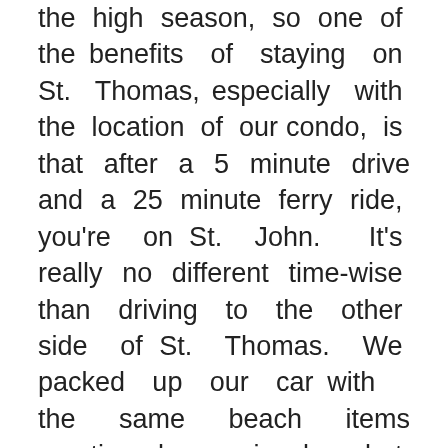the high season, so one of the benefits of staying on St. Thomas, especially with the location of our condo, is that after a 5 minute drive and a 25 minute ferry ride, you're on St. John.  It's really no different time-wise than driving to the other side of St. Thomas. We packed up our car with the same beach items mentioned previously, but we packed extra snacks so we didn't cut into our beach time by stopping for lunch. The St. John ferry arrives at Cruz Bay, which is the only actual town on St. John. Real estate is VERY expensive on St. John, as property is rare due to the national park, and also it's very expensive to build there, as everything has to be brought over on the ferry from St. Thomas, and...